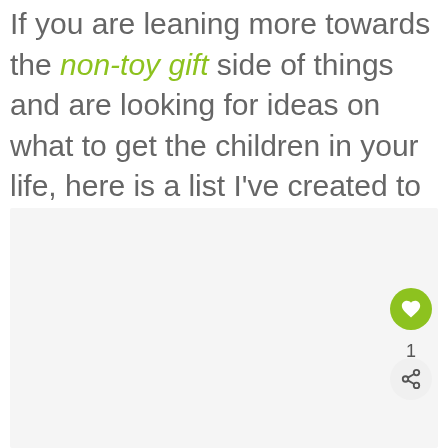If you are leaning more towards the non-toy gift side of things and are looking for ideas on what to get the children in your life, here is a list I've created to help you out.
[Figure (other): Light grey placeholder image area with a heart/like button (green circle with heart icon), a count of 1, and a share button (grey circle with share icon) overlaid in the bottom-right corner.]